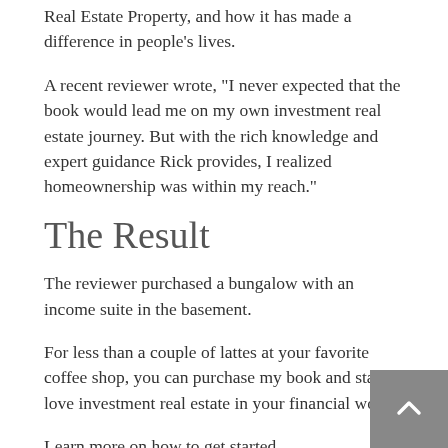Real Estate Property, and how it has made a difference in people's lives.
A recent reviewer wrote, "I never expected that the book would lead me on my own investment real estate journey. But with the rich knowledge and expert guidance Rick provides, I realized homeownership was within my reach."
The Result
The reviewer purchased a bungalow with an income suite in the basement.
For less than a couple of lattes at your favorite coffee shop, you can purchase my book and start to love investment real estate in your financial world.
Learn more on how to get started, https://www.vaulttoinvestmentrealestatesuccess.com/w-rick-harris-author-page
I wish you much success in building a stronger financial